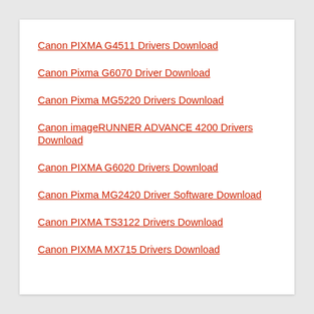Canon PIXMA G4511 Drivers Download
Canon Pixma G6070 Driver Download
Canon Pixma MG5220 Drivers Download
Canon imageRUNNER ADVANCE 4200 Drivers Download
Canon PIXMA G6020 Drivers Download
Canon Pixma MG2420 Driver Software Download
Canon PIXMA TS3122 Drivers Download
Canon PIXMA MX715 Drivers Download